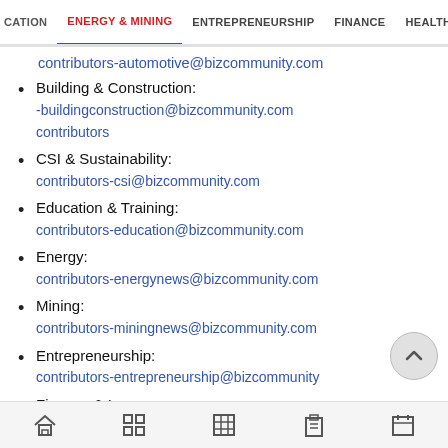CATION  ENERGY & MINING  ENTREPRENEURSHIP  FINANCE  HEALTHC
contributors-automotive@bizcommunity.com
Building & Construction:
-buildingconstruction@bizcommunity.com
contributors
CSI & Sustainability:
contributors-csi@bizcommunity.com
Education & Training:
contributors-education@bizcommunity.com
Energy:
contributors-energynews@bizcommunity.com
Mining:
contributors-miningnews@bizcommunity.com
Entrepreneurship:
contributors-entrepreneurship@bizcommunity
Finance & Insurance: